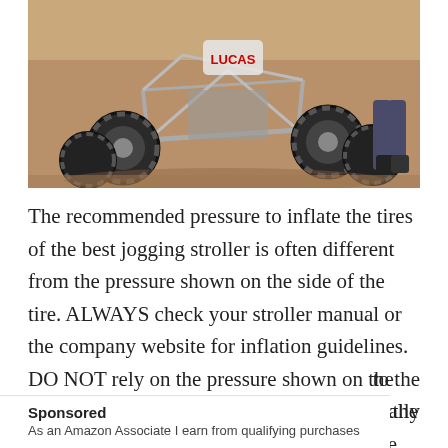[Figure (photo): A dune buggy / off-road vehicle with large knobby tires on sandy desert terrain, with a person's legs visible in the background.]
The recommended pressure to inflate the tires of the best jogging stroller is often different from the pressure shown on the side of the tire. ALWAYS check your stroller manual or the company website for inflation guidelines. DO NOT rely on the pressure shown on the tire itself.Five-point harness: It goes above the shoulders, through the hips and between the legs to secure the baby in the seat and minimize [cut off] to the [cut off] ecially
Sponsored
As an Amazon Associate I earn from qualifying purchases